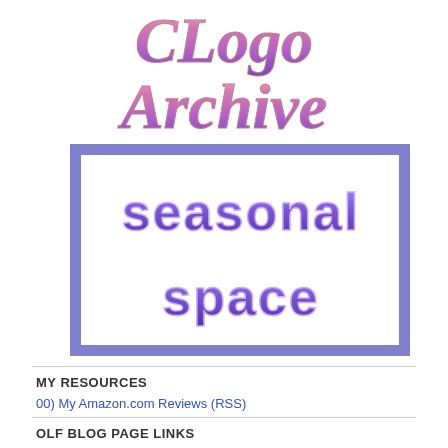[Figure (logo): CLogo Archive stylized text logo with pink-purple gradient italic serif font]
[Figure (illustration): Seasonal Space logo: purple border box containing white inner box with 'seasonal space' text in chunky purple retro font]
MY RESOURCES
00) My Amazon.com Reviews (RSS)
OLF BLOG PAGE LINKS